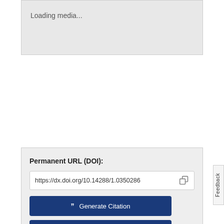[Figure (other): Loading media placeholder box with light gray background showing 'Loading media...' text]
Permanent URL (DOI):
https://dx.doi.org/10.14288/1.0350286
Generate Citation
Download Metadata
Feedback